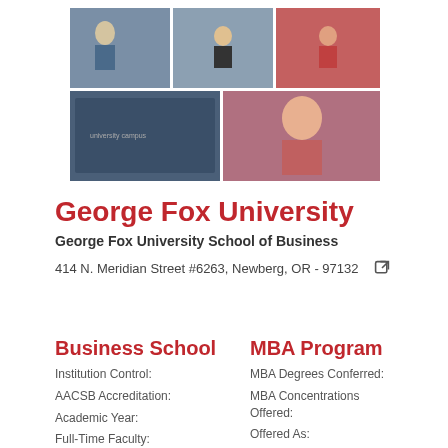[Figure (photo): A collage of six photos showing university students and campus scenes arranged in a grid pattern.]
George Fox University
George Fox University School of Business
414 N. Meridian Street #6263, Newberg, OR - 97132
Business School
Institution Control:
AACSB Accreditation:
Academic Year:
Full-Time Faculty:
Full- and Part-time Faculty:
Participating Faculty:
MBA Program
MBA Degrees Conferred:
MBA Concentrations Offered:
Offered As:
MBA Program Ranking(s)